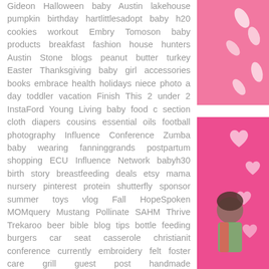Gideon Halloween baby Austin lakehouse pumpkin birthday hartlittlesadopt baby h20 cookies workout Embry Tomoson baby products breakfast fashion house hunters Austin Stone blogs peanut butter turkey Easter Thanksgiving baby girl accessories books embrace health holidays niece photo a day toddler vacation Finish This 2 under 2 InstaFord Young Living baby food c section cloth diapers cousins essential oils football photography Influence Conference Zumba baby wearing fanninggrands postpartum shopping ECU Influence Network babyh30 birth story breastfeeding deals etsy mama nursery pinterest protein shutterfly sponsor summer toys vlog Fall HopeSpoken MOMquery Mustang Pollinate SAHM Thrive Trekaroo beer bible blog tips bottle feeding burgers car seat casserole christianit conference currently embroidery felt foster care grill guest post handmade hartlittlesmove home tour jewelry monogram pancakes pizza potty training preschool prolife reci sewing shrimp skincare the nest veryjane
[Figure (photo): Pink background photo with white heart/feather shapes, top right corner]
[Figure (photo): Pink background photo with white heart shapes and a child with colorful outfit, bottom right corner]